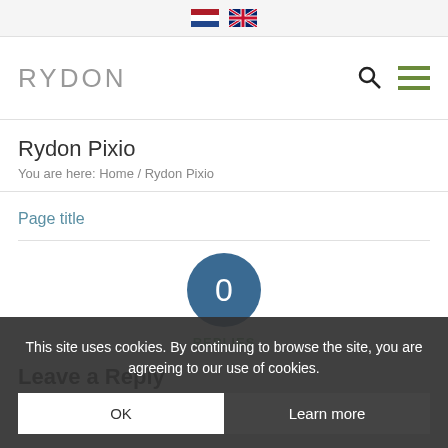[NL flag] [UK flag]
RYDON
Rydon Pixio
You are here:  Home  /  Rydon Pixio
Page title
[Figure (infographic): Blue circle with number 0 inside, labeled REPLIES below]
Leave a Reply
Want to join the discussion?
Feel free to contribute!
This site uses cookies. By continuing to browse the site, you are agreeing to our use of cookies.
OK    Learn more